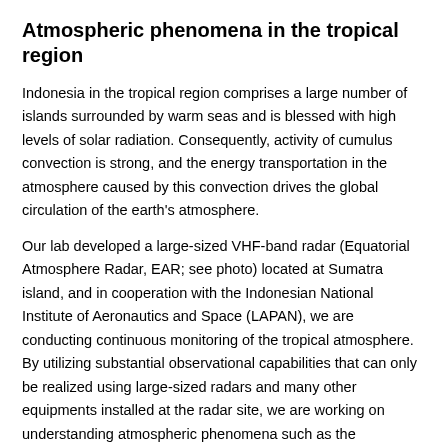Atmospheric phenomena in the tropical region
Indonesia in the tropical region comprises a large number of islands surrounded by warm seas and is blessed with high levels of solar radiation. Consequently, activity of cumulus convection is strong, and the energy transportation in the atmosphere caused by this convection drives the global circulation of the earth's atmosphere.
Our lab developed a large-sized VHF-band radar (Equatorial Atmosphere Radar, EAR; see photo) located at Sumatra island, and in cooperation with the Indonesian National Institute of Aeronautics and Space (LAPAN), we are conducting continuous monitoring of the tropical atmosphere. By utilizing substantial observational capabilities that can only be realized using large-sized radars and many other equipments installed at the radar site, we are working on understanding atmospheric phenomena such as the electromagnetic phenomenon in the ionosphere known as plasma bubbles and organization and energy transportations mechanisms of cumulus convection in the troposphere. Recently, we are collaborating with various countries such as Thailand, Vietnam, India, and China to develop comprehensive observation network in Southeast Asian region.